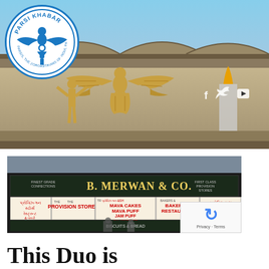[Figure (photo): Header photo of a Zoroastrian building facade with golden Faravahar (winged figure) relief sculptures and gold-colored figures on the exterior wall. Blue sky visible. Parsi Khabar logo (circular blue logo with Faravahar symbol and text 'PARSI KHABAR - PARSIS, THE ZOROASTRIANS OF INDIA, PAKISTAN AND THE WORLD') overlaid in the top-left corner. Social media icons (f, bird/twitter, music note) visible at the right side.]
[Figure (photo): Photo of the exterior storefront of B. Merwan & Co., a Parsi bakery and restaurant in Mumbai. The sign reads 'B. MERWAN & CO.' with sub-signs showing 'PROVISION STORES', 'BAKERS & RESTAURANT', 'MAVA CAKES, MAVA PUFF, JAM PUFF, ALL KINDS OF BISCUITS & BREAD' and Gujarati text on the sides. A reCAPTCHA widget is overlaid in the bottom-right corner showing 'Privacy - Terms'.]
This Duo is